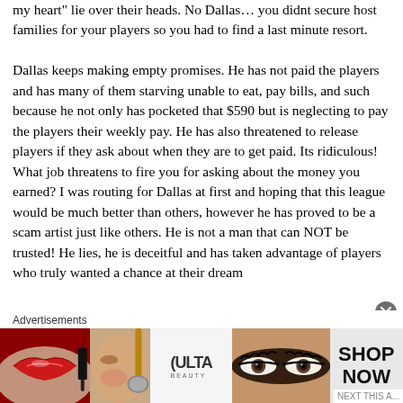my heart" lie over their heads. No Dallas... you didnt secure host families for your players so you had to find a last minute resort. Dallas keeps making empty promises. He has not paid the players and has many of them starving unable to eat, pay bills, and such because he not only has pocketed that $590 but is neglecting to pay the players their weekly pay. He has also threatened to release players if they ask about when they are to get paid. Its ridiculous! What job threatens to fire you for asking about the money you earned? I was routing for Dallas at first and hoping that this league would be much better than others, however he has proved to be a scam artist just like others. He is not a man that can NOT be trusted! He lies, he is deceitful and has taken advantage of players who truly wanted a chance at their dream
[Figure (infographic): Ulta Beauty advertisement banner with makeup imagery (lips, brush, eyes) and 'SHOP NOW' call to action]